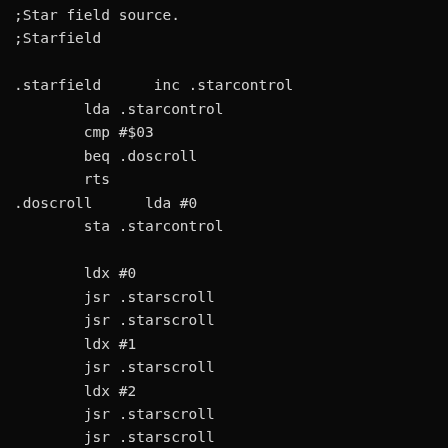;Star field source.
;Starfield

.starfield      inc .starcontrol
        lda .starcontrol
        cmp #$03
        beq .doscroll
        rts
.doscroll      lda #0
        sta .starcontrol

        ldx #0
        jsr .starscroll
        jsr .starscroll
        ldx #1
        jsr .starscroll
        ldx #2
        jsr .starscroll
        jsr .starscroll
        jsr .starscroll
        ldx #2